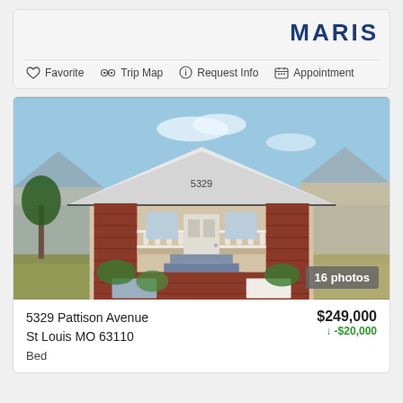[Figure (logo): MARIS real estate logo in dark navy bold text]
Favorite  Trip Map  Request Info  Appointment
[Figure (photo): Exterior photo of a brick bungalow at 5329 Pattison Avenue, St Louis MO. Red brick columns, white trim, covered front porch, stone steps leading to front door. Number 5329 visible on fascia. Green lawn and landscaping visible. 16 photos badge in lower right corner.]
5329 Pattison Avenue
St Louis MO 63110
$249,000
↓ -$20,000